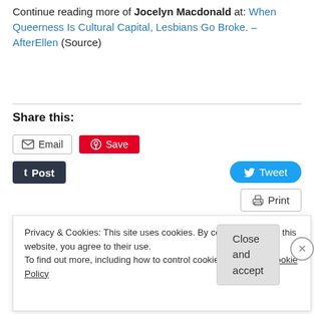Continue reading more of Jocelyn Macdonald at: When Queerness Is Cultural Capital, Lesbians Go Broke. – AfterEllen (Source)
Share this:
[Figure (screenshot): Social sharing buttons: Email, Save (Pinterest), Post (Tumblr), Tweet (Twitter), Print, More]
Privacy & Cookies: This site uses cookies. By continuing to use this website, you agree to their use. To find out more, including how to control cookies, see here: Cookie Policy
Close and accept